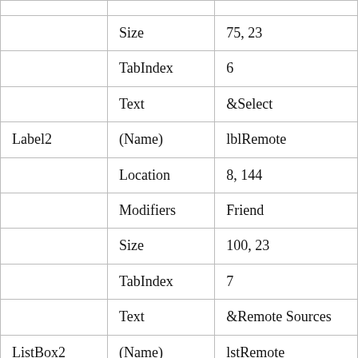|  |  |  |
| --- | --- | --- |
|  | Size | 75, 23 |
|  | TabIndex | 6 |
|  | Text | &Select |
| Label2 | (Name) | lblRemote |
|  | Location | 8, 144 |
|  | Modifiers | Friend |
|  | Size | 100, 23 |
|  | TabIndex | 7 |
|  | Text | &Remote Sources |
| ListBox2 | (Name) | lstRemote |